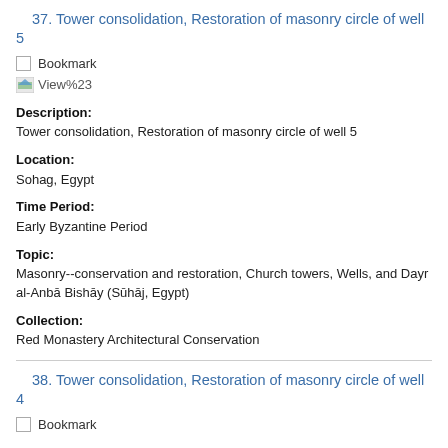37. Tower consolidation, Restoration of masonry circle of well 5
Bookmark
[Figure (other): View#23 icon/link image]
Description: Tower consolidation, Restoration of masonry circle of well 5
Location: Sohag, Egypt
Time Period: Early Byzantine Period
Topic: Masonry--conservation and restoration, Church towers, Wells, and Dayr al-Anbā Bishāy (Sūhāj, Egypt)
Collection: Red Monastery Architectural Conservation
38. Tower consolidation, Restoration of masonry circle of well 4
Bookmark